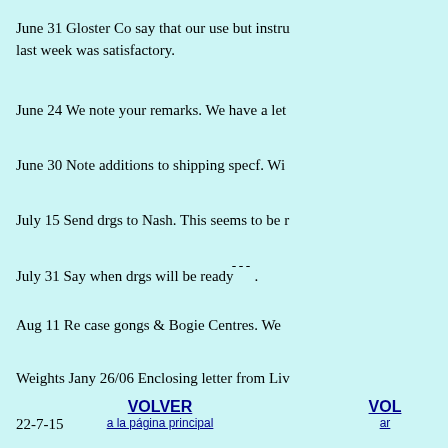June 31 Gloster Co say that our use but instru last week was satisfactory.
June 24 We note your remarks. We have a let
June 30 Note additions to shipping specf. Wi
July 15 Send drgs to Nash. This seems to be r
July 31 Say when drgs will be ready --- .
Aug 11 Re case gongs & Bogie Centres. We
Weights Jany 26/06 Enclosing letter from Liv
22-7-15
VOLVER a la página principal
VOL ar